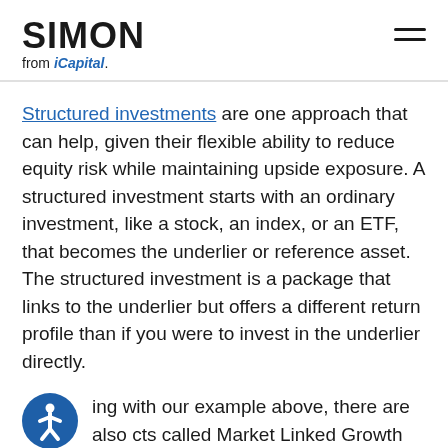SIMON from iCapital
Structured investments are one approach that can help, given their flexible ability to reduce equity risk while maintaining upside exposure. A structured investment starts with an ordinary investment, like a stock, an index, or an ETF, that becomes the underlier or reference asset. The structured investment is a package that links to the underlier but offers a different return profile than if you were to invest in the underlier directly.
...ing with our example above, there are also ...cts called Market Linked Growth Notes that can use the S&P 500 as an underlier to provide some of the upside of the index, while limiting your